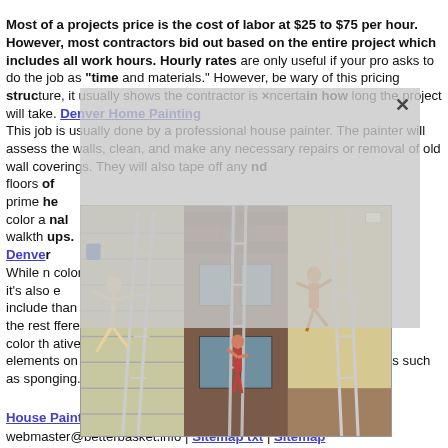Most of a projects price is the cost of labor at $25 to $75 per hour. However, most contractors bid out based on the entire project which includes all work hours. Hourly rates are only useful if your pro asks to do the job as "time and materials." However, be wary of this pricing structure, it usually shows the contractor is uncertain how long the project will take. Denver Home Painting This job is usually done by a professional house painter. The painter will assess the walls, clean, and make any necessary repairs or removal of old wall coverings. They will also tape off any ... and floors ... of primer ... he color a ... nal walkth ... ups. Denv... While n... color, it's also... e include... than the rest... fferent color th... ative elements on the walls, painting a mural, or faux painting techniques such as sponging. House Painting Denver Colorado
[Figure (photo): Three images arranged side by side showing people on ladders: left image shows a person falling off a ladder against a beige house exterior; center image shows a person climbing a ladder on a brick building exterior; right image shows a person falling off a ladder indoors.]
House Painting Denver Sitemap Contact us at webmaster@betterbasket.info | Sitemap txt | Sitemap